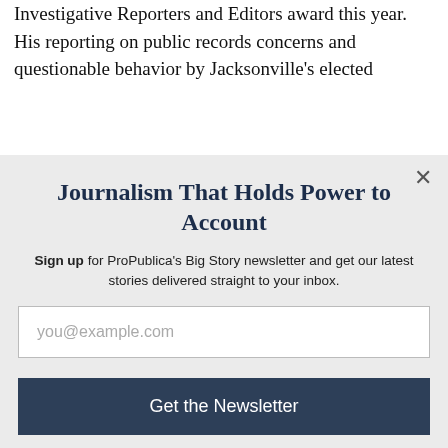Investigative Reporters and Editors award this year. His reporting on public records concerns and questionable behavior by Jacksonville's elected
Journalism That Holds Power to Account
Sign up for ProPublica's Big Story newsletter and get our latest stories delivered straight to your inbox.
you@example.com
Get the Newsletter
No thanks, I'm all set
This site is protected by reCAPTCHA and the Google Privacy Policy and Terms of Service apply.